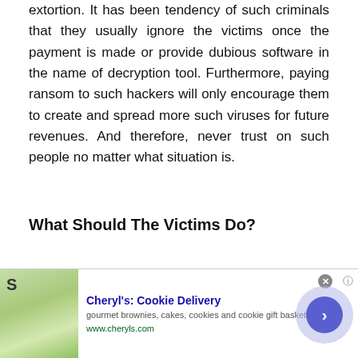extortion. It has been tendency of such criminals that they usually ignore the victims once the payment is made or provide dubious software in the name of decryption tool. Furthermore, paying ransom to such hackers will only encourage them to create and spread more such viruses for future revenues. And therefore, never trust on such people no matter what situation is.
What Should The Victims Do?
If you are an effected person, initially you must perform Viamwasted ransomware removal from the
[Figure (other): Advertisement banner for Cheryl's Cookie Delivery showing a food image, bold title, tagline about gourmet brownies, cakes, cookies and cookie gift baskets, URL www.cheryls.com, and a circular arrow button]